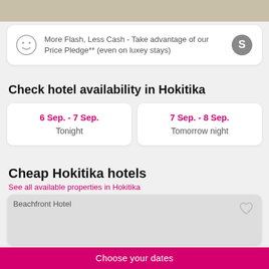[Figure (photo): Top partial image of a hotel room with beige carpet and white bedding]
More Flash, Less Cash - Take advantage of our Price Pledge** (even on luxey stays)
Check hotel availability in Hokitika
6 Sep. - 7 Sep.
Tonight
7 Sep. - 8 Sep.
Tomorrow night
Cheap Hokitika hotels
See all available properties in Hokitika
[Figure (photo): Beachfront Hotel property image placeholder]
Choose your dates